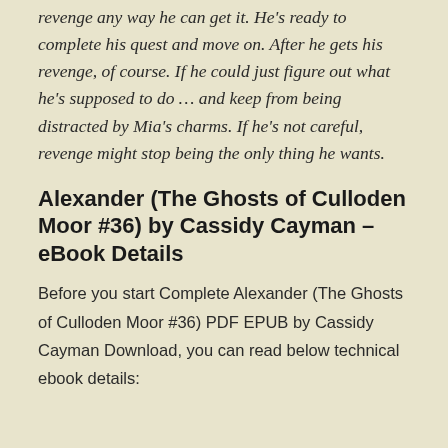revenge any way he can get it. He's ready to complete his quest and move on. After he gets his revenge, of course. If he could just figure out what he's supposed to do … and keep from being distracted by Mia's charms. If he's not careful, revenge might stop being the only thing he wants.
Alexander (The Ghosts of Culloden Moor #36) by Cassidy Cayman – eBook Details
Before you start Complete Alexander (The Ghosts of Culloden Moor #36) PDF EPUB by Cassidy Cayman Download, you can read below technical ebook details: